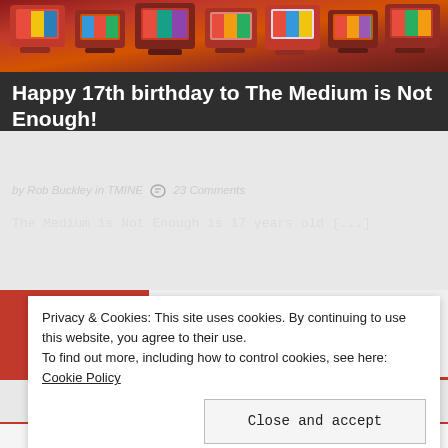[Figure (photo): Colorful pile of retro television sets with rainbow test patterns]
Happy 17th birthday to The Medium is Not Enough!
by Rob Buckley in TMINE  23 Comments
The Medium is Not Enough is 17 years old [...]
[Figure (infographic): Tab bar with three icons: speech bubble (active, red background), newspaper, and tag]
Privacy & Cookies: This site uses cookies. By continuing to use this website, you agree to their use.
To find out more, including how to control cookies, see here: Cookie Policy
Close and accept
Academy and The Terminal List · 3 weeks ago